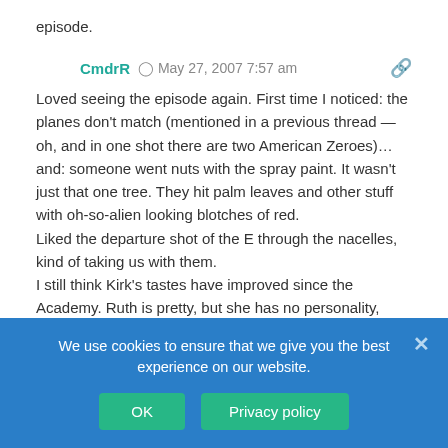episode.
CmdrR  ©  May 27, 2007 7:57 am
Loved seeing the episode again. First time I noticed: the planes don't match (mentioned in a previous thread — oh, and in one shot there are two American Zeroes)… and: someone went nuts with the spray paint. It wasn't just that one tree. They hit palm leaves and other stuff with oh-so-alien looking blotches of red.
Liked the departure shot of the E through the nacelles, kind of taking us with them.
I still think Kirk's tastes have improved since the Academy. Ruth is pretty, but she has no personality, actually she's kinda sad. If she's his main interest in XI, I hope they make her more interesting.
ZtoA  ©  May 27, 2007 8:01 am
We use cookies to ensure that we give you the best experience on our website.
OK
Privacy policy